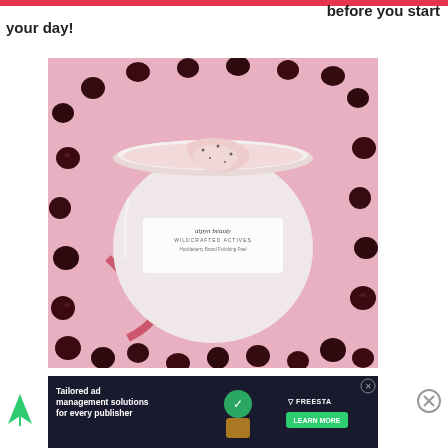before you start your day!
[Figure (photo): Open jar of Alpyn Beauty Wildcrafted Actives Huckleberry Brand Polishing Peel cream surrounded by dark berries on a pink background]
[Figure (other): Advertisement banner: Tailored ad management solutions for every publisher — Freestar, with Learn More button]